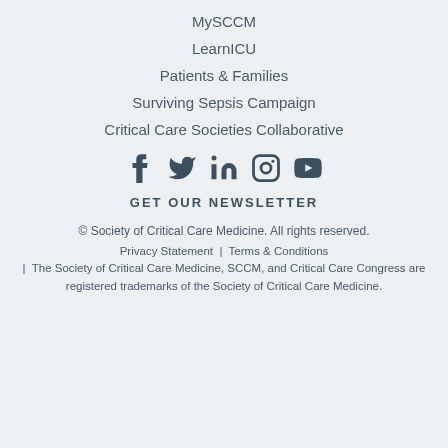MySCCM
LearnICU
Patients & Families
Surviving Sepsis Campaign
Critical Care Societies Collaborative
[Figure (infographic): Social media icons: Facebook, Twitter, LinkedIn, Instagram, YouTube]
GET OUR NEWSLETTER
© Society of Critical Care Medicine. All rights reserved.
Privacy Statement | Terms & Conditions | The Society of Critical Care Medicine, SCCM, and Critical Care Congress are registered trademarks of the Society of Critical Care Medicine.